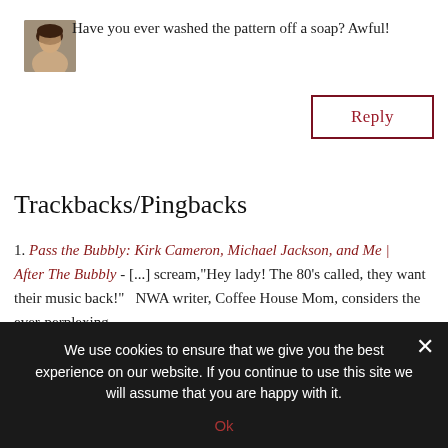[Figure (photo): Small avatar/profile photo of a woman with dark hair]
Have you ever washed the pattern off a soap? Awful!
Reply
Trackbacks/Pingbacks
1. Pass the Bubbly: Kirk Cameron, Michael Jackson, and Me | After The Bubbly - [...] scream,"Hey lady! The 80's called, they want their music back!"   NWA writer, Coffee House Mom, considers the ever-perplexing...
2. Low Class Here, People (Or, I Couldn't Do Fancy If I Tried) « Coffeehousemom's Weblog - [...] On the other hand, the cover of the catalog in my mailbox is graced with a silk-covered bed,
We use cookies to ensure that we give you the best experience on our website. If you continue to use this site we will assume that you are happy with it.
Ok